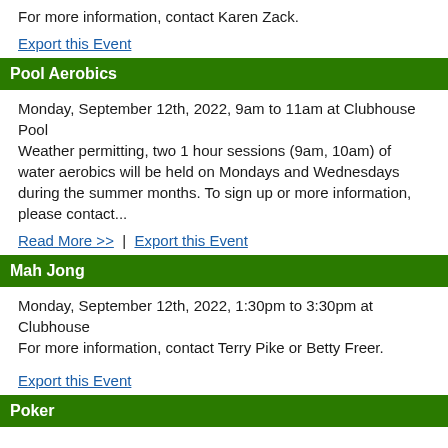For more information, contact Karen Zack.
Export this Event
Pool Aerobics
Monday, September 12th, 2022, 9am to 11am at Clubhouse Pool
Weather permitting, two 1 hour sessions (9am, 10am) of water aerobics will be held on Mondays and Wednesdays during the summer months. To sign up or more information, please contact...
Read More >> | Export this Event
Mah Jong
Monday, September 12th, 2022, 1:30pm to 3:30pm at Clubhouse
For more information, contact Terry Pike or Betty Freer.
Export this Event
Poker